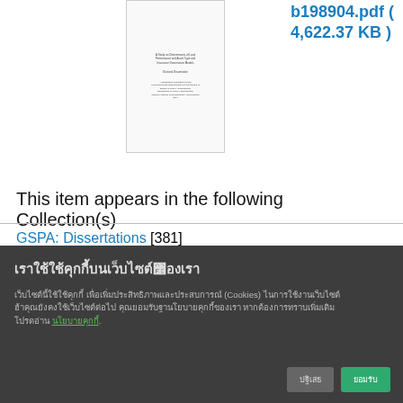[Figure (other): Thumbnail preview of a dissertation document page with small Thai and English text]
b198904.pdf ( 4,622.37 KB )
This item appears in the following Collection(s)
GSPA: Dissertations [381]
Thai script cookie consent title (non-Latin characters)
Thai script cookie consent body text with (Cookies) mention and link
Button labels in Thai script